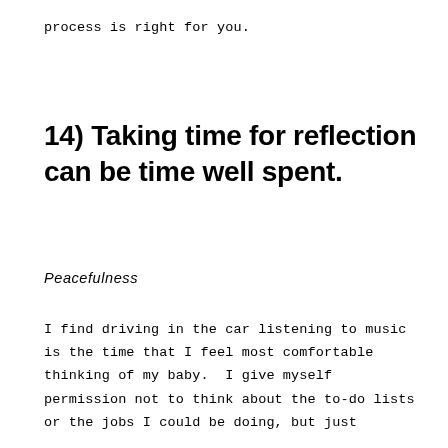process is right for you.
14) Taking time for reflection can be time well spent.
Peacefulness
I find driving in the car listening to music is the time that I feel most comfortable thinking of my baby.  I give myself permission not to think about the to-do lists or the jobs I could be doing, but just